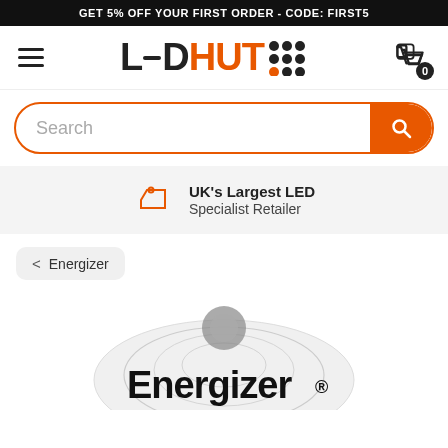GET 5% OFF YOUR FIRST ORDER - CODE: FIRST5
[Figure (logo): LED HUT logo with dot grid pattern]
Search
UK's Largest LED Specialist Retailer
< Energizer
[Figure (photo): Energizer product packaging partially visible at bottom of page]